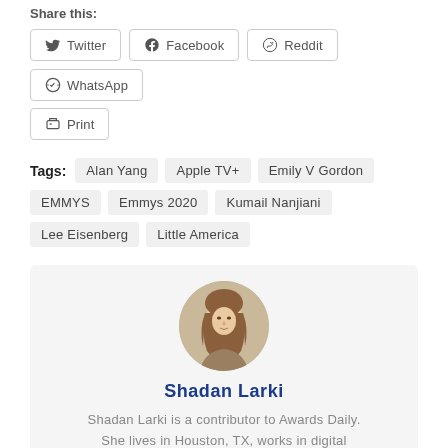Share this:
Twitter
Facebook
Reddit
WhatsApp
Print
Tags: Alan Yang  Apple TV+  Emily V Gordon  EMMYS  Emmys 2020  Kumail Nanjiani  Lee Eisenberg  Little America
[Figure (photo): Circular portrait photo of Shadan Larki, a young woman with long brown hair]
Shadan Larki
Shadan Larki is a contributor to Awards Daily. She lives in Houston, TX, works in digital marketing, and obsessively watches TV & Movies. Follow Shadan on Twitter —